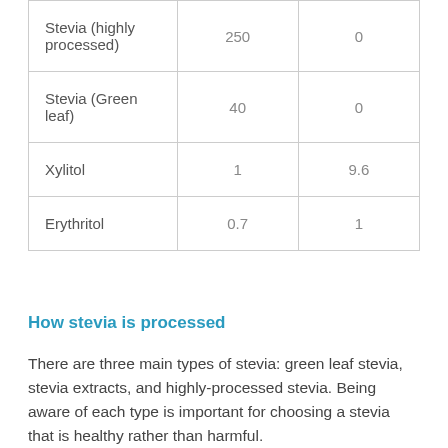| Stevia (highly processed) | 250 | 0 |
| Stevia (Green leaf) | 40 | 0 |
| Xylitol | 1 | 9.6 |
| Erythritol | 0.7 | 1 |
How stevia is processed
There are three main types of stevia: green leaf stevia, stevia extracts, and highly-processed stevia. Being aware of each type is important for choosing a stevia that is healthy rather than harmful.
Green leaf stevia is the type that the